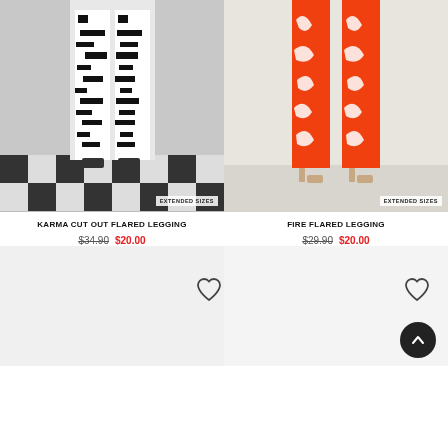[Figure (photo): Model wearing black and white zebra print flared legging with black and white checkered floor, labeled EXTENDED SIZES]
[Figure (photo): Model wearing orange and white swirl print flared legging with neutral background, labeled EXTENDED SIZES]
KARMA CUT OUT FLARED LEGGING
$34.90  $20.00
FIRE FLARED LEGGING
$29.90  $20.00
[Figure (photo): Partial bottom of page with heart/wishlist icons and scroll-to-top button]